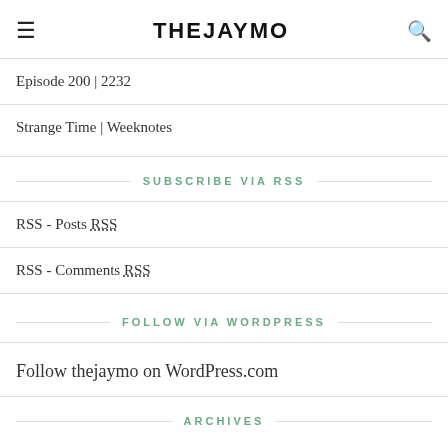THEJAYMO
Episode 200 | 2232
Strange Time | Weeknotes
SUBSCRIBE VIA RSS
RSS - Posts RSS
RSS - Comments RSS
FOLLOW VIA WORDPRESS
Follow thejaymo on WordPress.com
ARCHIVES